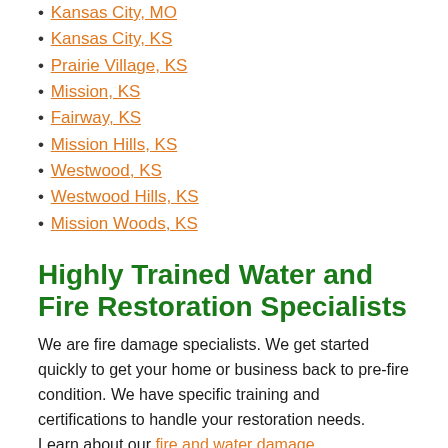Kansas City, MO
Kansas City, KS
Prairie Village, KS
Mission, KS
Fairway, KS
Mission Hills, KS
Westwood, KS
Westwood Hills, KS
Mission Woods, KS
Highly Trained Water and Fire Restoration Specialists
We are fire damage specialists. We get started quickly to get your home or business back to pre-fire condition. We have specific training and certifications to handle your restoration needs. Learn about our fire and water damage training/certificates.
Our Fire Restoration Process
Every fire damage event is a little different and requires a unique solution, but the general process stays the same. The